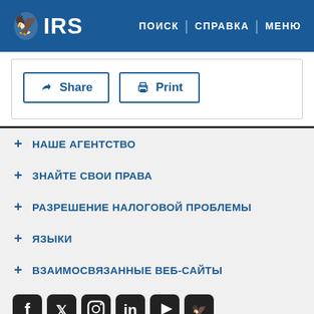IRS | ПОИСК | СПРАВКА | МЕНЮ
[Figure (screenshot): Share and Print buttons with blue borders]
+ НАШЕ АГЕНТСТВО
+ ЗНАЙТЕ СВОИ ПРАВА
+ РАЗРЕШЕНИЕ НАЛОГОВОЙ ПРОБЛЕМЫ
+ ЯЗЫКИ
+ ВЗАИМОСВЯЗАННЫЕ ВЕБ-САЙТЫ
[Figure (logo): Social media icons: Facebook, Twitter, Instagram, LinkedIn, YouTube, IRS logo]